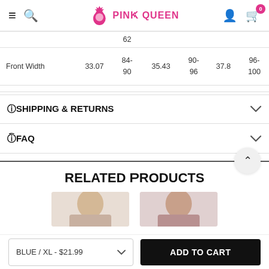PINK QUEEN
|  |  |  |  |  |  |
| --- | --- | --- | --- | --- | --- |
|  | 62 |  |  |  |  |
| Front Width | 33.07 | 84-
90 | 35.43 | 90-
96 | 37.8 | 96-
100 |
SHIPPING & RETURNS
FAQ
RELATED PRODUCTS
[Figure (photo): Product thumbnail photos of two models]
BLUE / XL - $21.99
ADD TO CART